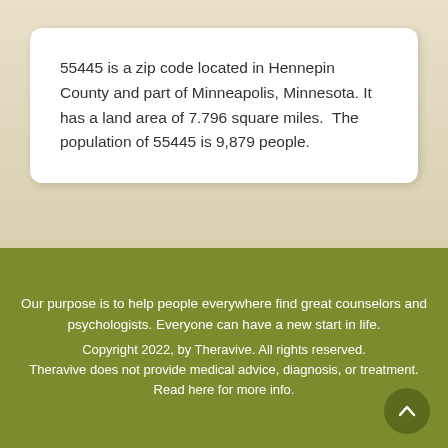55445 is a zip code located in Hennepin County and part of Minneapolis, Minnesota. It has a land area of 7.796 square miles.  The population of 55445 is 9,879 people.
Our purpose is to help people everywhere find great counselors and psychologists. Everyone can have a new start in life.

Copyright 2022, by Theravive. All rights reserved.

Theravive does not provide medical advice, diagnosis, or treatment.

Read here for more info.